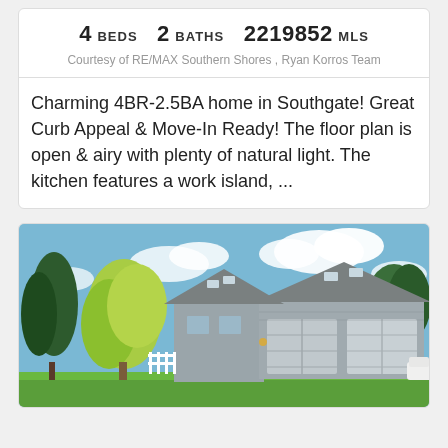4 BEDS   2 BATHS   2219852 MLS
Courtesy of RE/MAX Southern Shores , Ryan Korros Team
Charming 4BR-2.5BA home in Southgate! Great Curb Appeal & Move-In Ready! The floor plan is open & airy with plenty of natural light. The kitchen features a work island, ...
[Figure (photo): Exterior photo of a residential home with gray siding, a two-car garage, gray shingled roof with skylights, surrounded by green trees under a partly cloudy blue sky.]